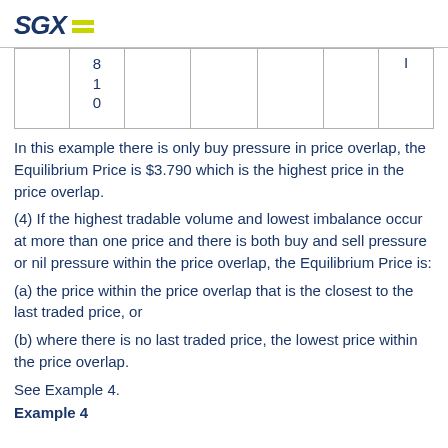SGX
|  | 8
1
0 |  |  |  |  | I |
In this example there is only buy pressure in price overlap, the Equilibrium Price is $3.790 which is the highest price in the price overlap.
(4) If the highest tradable volume and lowest imbalance occur at more than one price and there is both buy and sell pressure or nil pressure within the price overlap, the Equilibrium Price is:
(a) the price within the price overlap that is the closest to the last traded price, or
(b) where there is no last traded price, the lowest price within the price overlap.
See Example 4.
Example 4